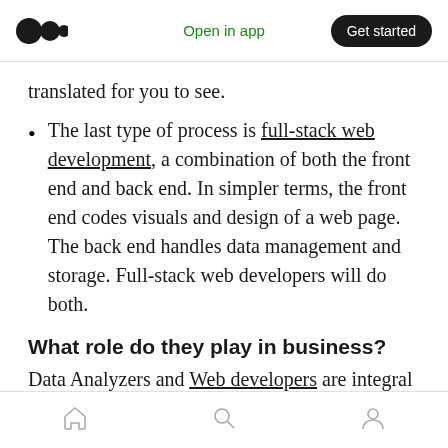Open in app | Get started
translated for you to see.
The last type of process is full-stack web development, a combination of both the front end and back end. In simpler terms, the front end codes visuals and design of a web page. The back end handles data management and storage. Full-stack web developers will do both.
What role do they play in business?
Data Analyzers and Web developers are integral to businesses. They create a virtual hub for
Home | Search | Profile